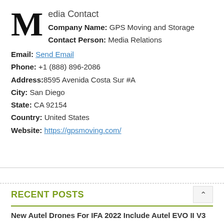Media Contact
Company Name: GPS Moving and Storage
Contact Person: Media Relations
Email: Send Email
Phone: +1 (888) 896-2086
Address: 8595 Avenida Costa Sur #A
City: San Diego
State: CA 92154
Country: United States
Website: https://gpsmoving.com/
RECENT POSTS
New Autel Drones For IFA 2022 Include Autel EVO II V3